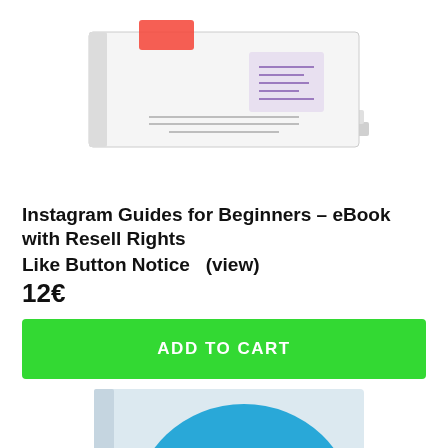[Figure (illustration): Stacked books/eBooks showing Instagram Guides for Beginners product cover with icons and subtitle text about Instagram]
Instagram Guides for Beginners – eBook with Resell Rights
Like Button Notice   (view)
12€
ADD TO CART
[Figure (illustration): Book cover showing 'BOOST YOUR' text with a large blue and red circle design on a light background]